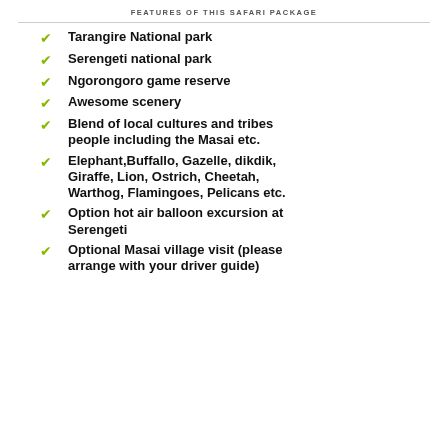FEATURES OF THIS SAFARI PACKAGE
Tarangire National park
Serengeti national park
Ngorongoro game reserve
Awesome scenery
Blend of local cultures and tribes people including the Masai etc.
Elephant,Buffallo, Gazelle, dikdik, Giraffe, Lion, Ostrich, Cheetah, Warthog, Flamingoes, Pelicans etc.
Option hot air balloon excursion at Serengeti
Optional Masai village visit (please arrange with your driver guide)